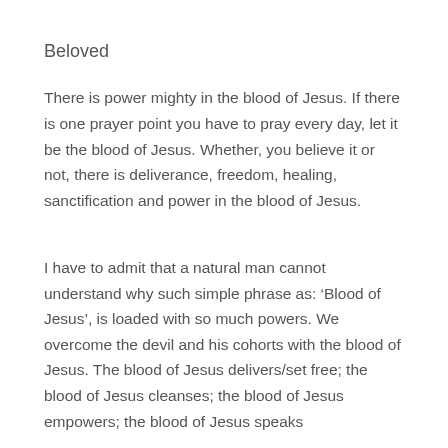Beloved
There is power mighty in the blood of Jesus. If there is one prayer point you have to pray every day, let it be the blood of Jesus. Whether, you believe it or not, there is deliverance, freedom, healing, sanctification and power in the blood of Jesus.
I have to admit that a natural man cannot understand why such simple phrase as: ‘Blood of Jesus’, is loaded with so much powers. We overcome the devil and his cohorts with the blood of Jesus. The blood of Jesus delivers/set free; the blood of Jesus cleanses; the blood of Jesus empowers; the blood of Jesus speaks
.